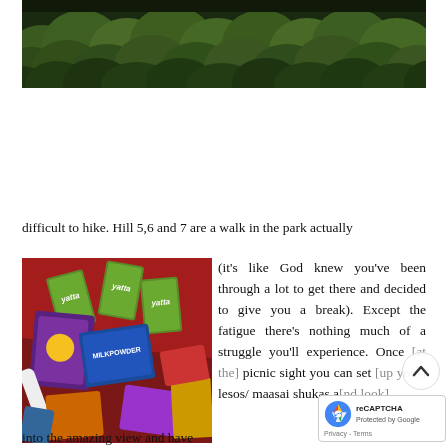[Figure (photo): Aerial or elevated view of dense green forest/tree canopy]
difficult to hike. Hill 5,6 and 7 are a walk in the park actually (it's like God knew you've been through a lot to get there and decided to give you a break). Except the fatigue there's nothing much of a struggle you'll experience. Once [at the] picnic sight you can set [up your] lesos/ maasai shukas a[nd look] into the amazing view and have...
[Figure (photo): Colorful assortment of food packages and picnic supplies including juice boxes, snack packets, and other items spread on a blanket]